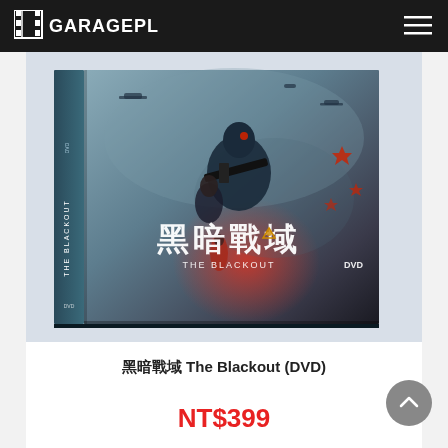GARAGEPLAY
[Figure (photo): DVD box of 'The Blackout' (黑暗戰域) showing a soldier in armor holding a weapon, a woman, and red explosion effects in the background. Chinese characters '黑暗戰域' and 'THE BLACKOUT' text on the cover, with 'DVD' logo.]
黑暗戰域 The Blackout (DVD)
NT$399